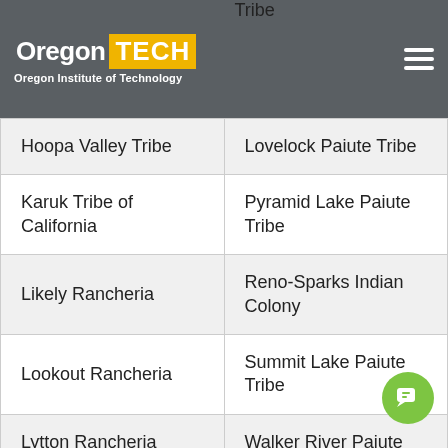Oregon TECH — Oregon Institute of Technology
|  |  |
| --- | --- |
| Hoopa Valley Tribe | Lovelock Paiute Tribe |
| Karuk Tribe of California | Pyramid Lake Paiute Tribe |
| Likely Rancheria | Reno-Sparks Indian Colony |
| Lookout Rancheria | Summit Lake Paiute Tribe |
| Lytton Rancheria | Walker River Paiute |